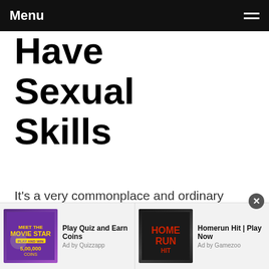Menu
Have Sexual Skills
It's a very commonplace and ordinary thing in the presence of a typical individual that your female accessory isn't arranged when you have a strong inclination for having sex. You ought to enlist o...
Read more
[Figure (screenshot): Two advertisement units: 'Play Quiz and Earn Coins - Ad by Quizzapp' with purple game graphic, and 'Homerun Hit | Play Now - Ad by Gamezoo' with baseball game graphic. Close button at top right.]